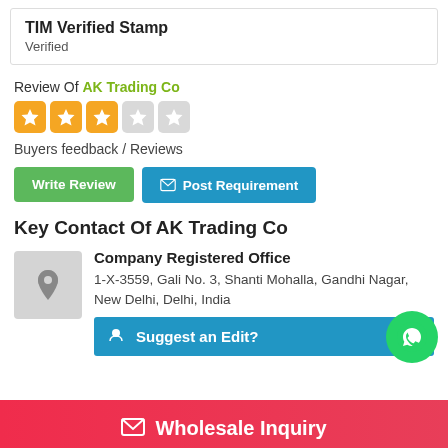TIM Verified Stamp
Verified
Review Of AK Trading Co
[Figure (other): 3 filled gold stars and 2 empty grey stars rating]
Buyers feedback / Reviews
Write Review
Post Requirement
Key Contact Of AK Trading Co
Company Registered Office
1-X-3559, Gali No. 3, Shanti Mohalla, Gandhi Nagar, New Delhi, Delhi, India
Suggest an Edit?
Wholesale Inquiry